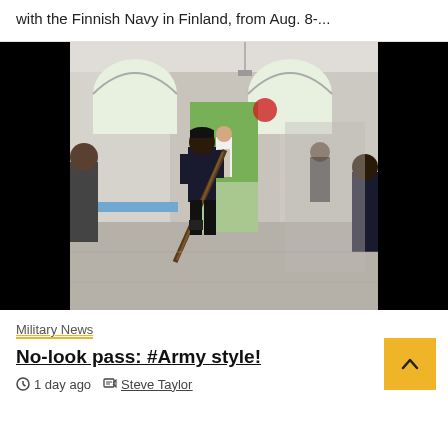with the Finnish Navy in Finland, from Aug. 8-...
[Figure (photo): Military personnel inside a building, one person carrying a rifle at their side, others visible in background. Large arched windows visible. Photo has black bars on left and right sides.]
Military News
No-look pass: #Army style!
1 day ago  Steve Taylor